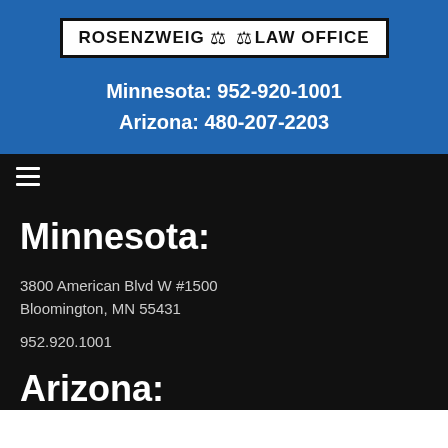[Figure (logo): Rosenzweig Law Office logo with scales of justice icon, black border on white background]
Minnesota: 952-920-1001
Arizona: 480-207-2203
[Figure (other): Navigation bar with hamburger menu icon]
Minnesota:
3800 American Blvd W #1500
Bloomington, MN 55431
952.920.1001
Arizona: